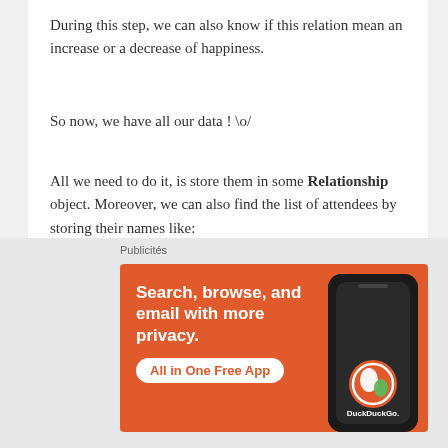During this step, we can also know if this relation mean an increase or a decrease of happiness.
So now, we have all our data ! \o/
All we need to do it, is store them in some Relationship object. Moreover, we can also find the list of attendees by storing their names like:
std::vector<Person> persons;
foreachLineIn(fileContent, [&persons](cons
{
[Figure (screenshot): DuckDuckGo advertisement banner with text 'Search, browse, and email with more privacy. All in One Free App' on orange background with phone image showing DuckDuckGo logo]